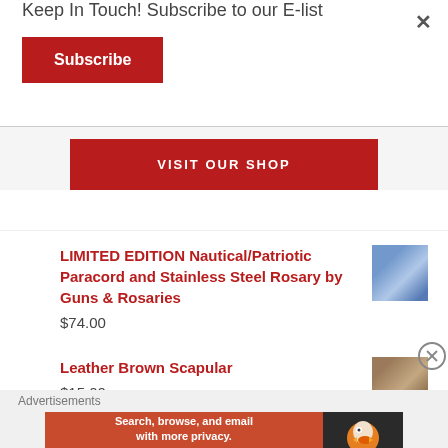Keep In Touch! Subscribe to our E-list
Subscribe
VISIT OUR SHOP
LIMITED EDITION Nautical/Patriotic Paracord and Stainless Steel Rosary by Guns & Rosaries
$74.00
Leather Brown Scapular
$15.00
Advertisements
Search, browse, and email with more privacy. All in One Free App